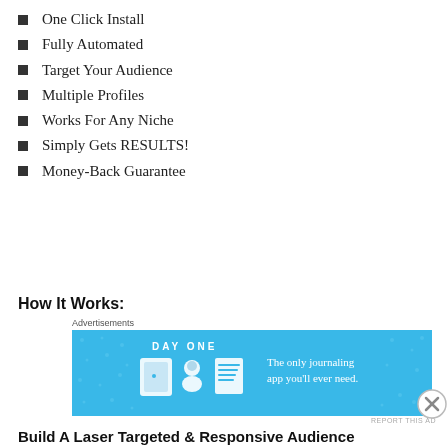One Click Install
Fully Automated
Target Your Audience
Multiple Profiles
Works For Any Niche
Simply Gets RESULTS!
Money-Back Guarantee
How It Works:
[Figure (screenshot): DayOne app advertisement: 'The only journaling app you'll ever need.' with icons of a door, person, and notepad on blue background.]
Build A Laser Targeted & Responsive Audience
[Figure (screenshot): DuckDuckGo advertisement: 'Search, browse, and email with more privacy. All in One Free App' on orange background with DuckDuckGo logo on dark panel.]